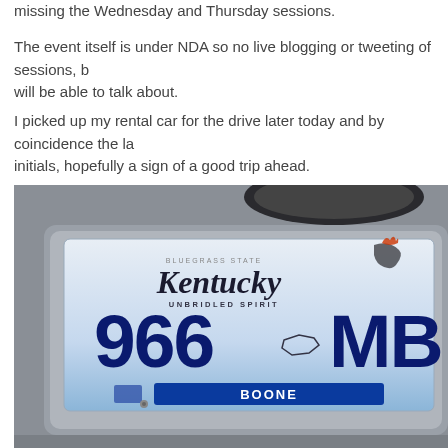missing the Wednesday and Thursday sessions.
The event itself is under NDA so no live blogging or tweeting of sessions, but there will be able to talk about.
I picked up my rental car for the drive later today and by coincidence the la initials, hopefully a sign of a good trip ahead.
[Figure (photo): Close-up photo of a Kentucky license plate reading '966 MB' with 'UNBRIDLED SPIRIT' tagline and 'BOONE' county sticker at bottom, mounted on a silver car bumper.]